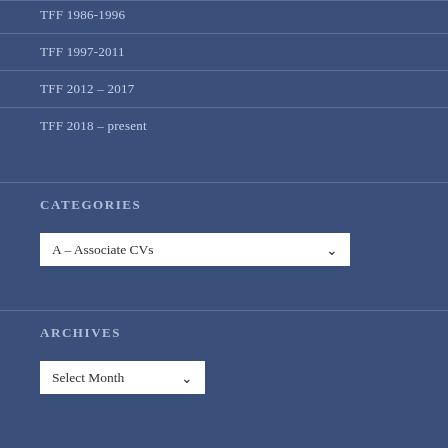TFF 1986-1996
TFF 1997-2011
TFF 2012 – 2017
TFF 2018 – present
CATEGORIES
A – Associate CVs (dropdown)
ARCHIVES
Select Month (dropdown)